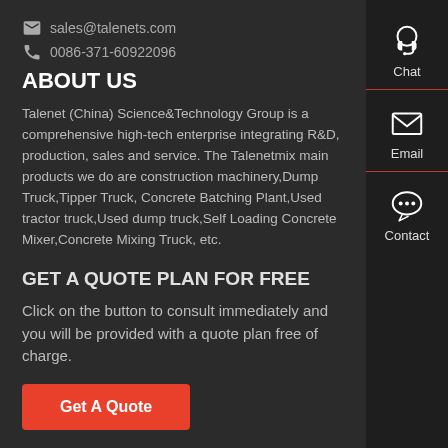sales@talenets.com
0086-371-60922096
ABOUT US
Talenet (China) Science&Technology Group is a comprehensive high-tech enterprise integrating R&D, production, sales and service. The Talenetmix main products we do are construction machinery,Dump Truck,Tipper Truck, Concrete Batching Plant,Used tractor truck,Used dump truck,Self Loading Concrete Mixer,Concrete Mixing Truck, etc.
GET A QUOTE PLAN FOR FREE
Click on the button to consult immediately and you will be provided with a quote plan free of charge.
Get A Quote
[Figure (infographic): Right sidebar with Chat, Email, and Contact icons on dark background]
Chat
Email
Contact